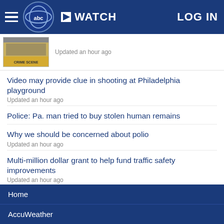WATCH | LOG IN
[Figure (screenshot): Thumbnail image showing a yellow crime scene tape or barrier with text, partially cropped]
Updated an hour ago
Video may provide clue in shooting at Philadelphia playground
Updated an hour ago
Police: Pa. man tried to buy stolen human remains
Why we should be concerned about polio
Updated an hour ago
Multi-million dollar grant to help fund traffic safety improvements
Updated an hour ago
SHOW MORE
Home
AccuWeather